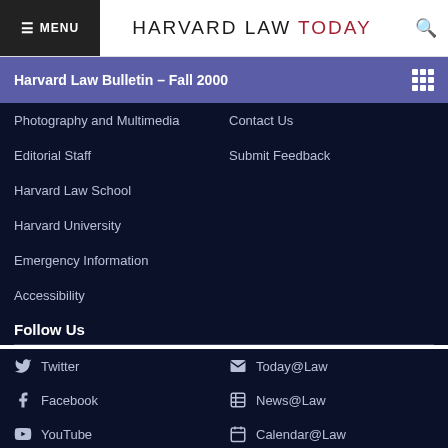MENU | HARVARD LAW TODAY
Harvard Law Bulletin – Fall 2000
Photography and Multimedia
Contact Us
Editorial Staff
Submit Feedback
Harvard Law School
Harvard University
Emergency Information
Accessibility
Follow Us
Twitter
Today@Law
Facebook
News@Law
YouTube
Calendar@Law